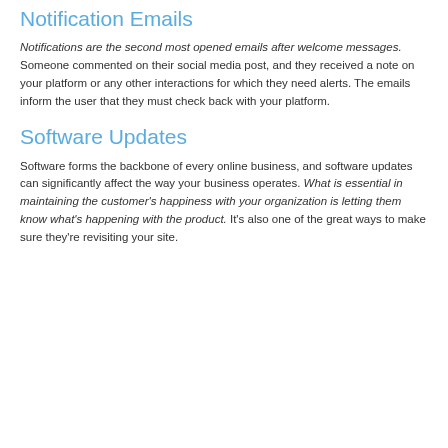Notification Emails
Notifications are the second most opened emails after welcome messages. Someone commented on their social media post, and they received a note on your platform or any other interactions for which they need alerts. The emails inform the user that they must check back with your platform.
Software Updates
Software forms the backbone of every online business, and software updates can significantly affect the way your business operates. What is essential in maintaining the customer's happiness with your organization is letting them know what's happening with the product. It's also one of the great ways to make sure they're revisiting your site.